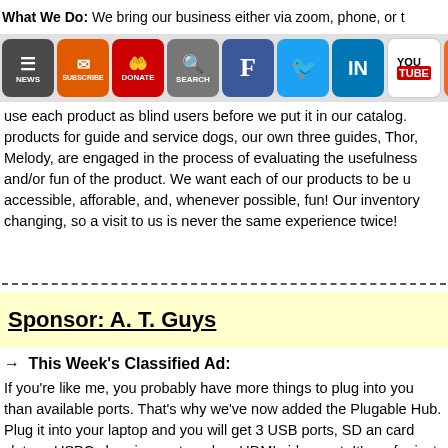What We Do: We bring our business either via zoom, phone, or t
[Figure (infographic): Social media and navigation icon buttons: NEWS, SUBSCRIBE, DONATE, SEARCH, Facebook, Twitter, LinkedIn, YouTube, RSS]
use each product as blind users before we put it in our catalog. products for guide and service dogs, our own three guides, Thor, Melody, are engaged in the process of evaluating the usefulness and/or fun of the product. We want each of our products to be u accessible, afforable, and, whenever possible, fun! Our inventory changing, so a visit to us is never the same experience twice!
Sponsor: A. T. Guys
→ This Week's Classified Ad:
If you're like me, you probably have more things to plug into you than available ports. That's why we've now added the Plugable Hub. Plug it into your laptop and you will get 3 USB ports, SD an card slots, a USBC charging port, and an HDMI video port. It's av for just $29.95:
https://www.atguys.com/store/index.php?main_page=product_info&cPath=28&products_id=331